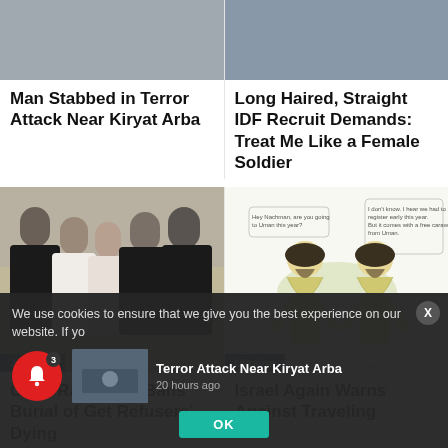[Figure (photo): Photo thumbnail top left article]
Man Stabbed in Terror Attack Near Kiryat Arba
[Figure (photo): Photo thumbnail top right article]
Long Haired, Straight IDF Recruit Demands: Treat Me Like a Female Soldier
[Figure (photo): Group photo at ceremony, Judaism tag]
Chief Rabbinate Bans Burial of Get Refusers' Dying
[Figure (illustration): Cartoon illustration of two Hasidic figures talking, Ukraine tag]
Israel Again Warns Against Traveling
We use cookies to ensure that we give you the best experience on our website. If yo
Terror Attack Near Kiryat Arba
20 hours ago